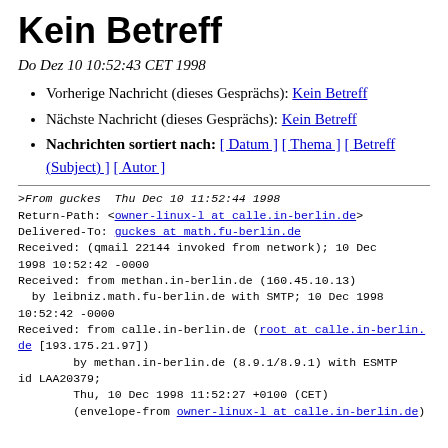Kein Betreff
Do Dez 10 10:52:43 CET 1998
Vorherige Nachricht (dieses Gesprächs): Kein Betreff
Nächste Nachricht (dieses Gesprächs): Kein Betreff
Nachrichten sortiert nach: [ Datum ] [ Thema ] [ Betreff (Subject) ] [ Autor ]
>From guckes  Thu Dec 10 11:52:44 1998
Return-Path: <owner-linux-l at calle.in-berlin.de>
Delivered-To: guckes at math.fu-berlin.de
Received: (qmail 22144 invoked from network); 10 Dec 1998 10:52:42 -0000
Received: from methan.in-berlin.de (160.45.10.13)
  by leibniz.math.fu-berlin.de with SMTP; 10 Dec 1998 10:52:42 -0000
Received: from calle.in-berlin.de (root at calle.in-berlin.de [193.175.21.97])
        by methan.in-berlin.de (8.9.1/8.9.1) with ESMTP id LAA20379;
        Thu, 10 Dec 1998 11:52:27 +0100 (CET)
        (envelope-from owner-linux-l at calle.in-berlin.de)